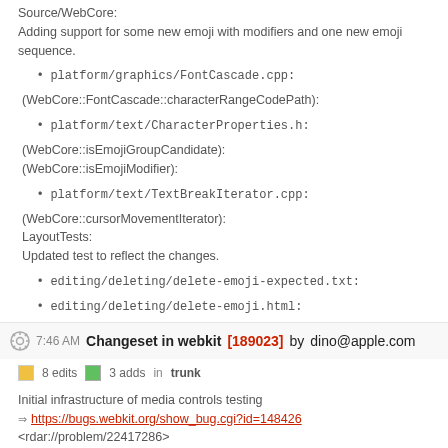Source/WebCore:
Adding support for some new emoji with modifiers and one new emoji sequence.
platform/graphics/FontCascade.cpp:
(WebCore::FontCascade::characterRangeCodePath):
platform/text/CharacterProperties.h:
(WebCore::isEmojiGroupCandidate):
(WebCore::isEmojiModifier):
platform/text/TextBreakIterator.cpp:
(WebCore::cursorMovementIterator):
LayoutTests:
Updated test to reflect the changes.
editing/deleting/delete-emoji-expected.txt:
editing/deleting/delete-emoji.html:
7:46 AM Changeset in webkit [189023] by dino@apple.com
8 edits   3 adds   in trunk
Initial infrastructure of media controls testing
https://bugs.webkit.org/show_bug.cgi?id=148426
<rdar://problem/22417286>
Reviewed by Eric Carlson.